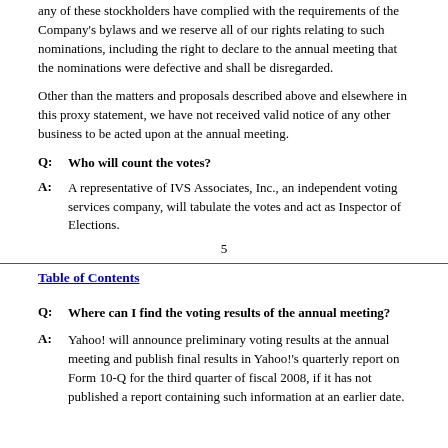any of these stockholders have complied with the requirements of the Company's bylaws and we reserve all of our rights relating to such nominations, including the right to declare to the annual meeting that the nominations were defective and shall be disregarded.
Other than the matters and proposals described above and elsewhere in this proxy statement, we have not received valid notice of any other business to be acted upon at the annual meeting.
Q: Who will count the votes?
A: A representative of IVS Associates, Inc., an independent voting services company, will tabulate the votes and act as Inspector of Elections.
5
Table of Contents
Q: Where can I find the voting results of the annual meeting?
A: Yahoo! will announce preliminary voting results at the annual meeting and publish final results in Yahoo!'s quarterly report on Form 10-Q for the third quarter of fiscal 2008, if it has not published a report containing such information at an earlier date.